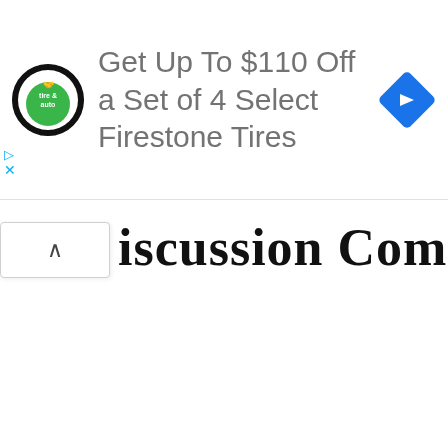[Figure (screenshot): Advertisement banner for Firestone tire & auto showing logo, text 'Get Up To $110 Off a Set of 4 Select Firestone Tires', and a blue navigation diamond icon]
iscussion Comments